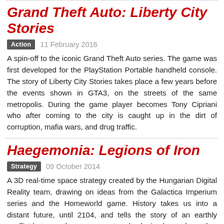Grand Theft Auto: Liberty City Stories
Action   11 February 2016
A spin-off to the iconic Grand Theft Auto series. The game was first developed for the PlayStation Portable handheld console. The story of Liberty City Stories takes place a few years before the events shown in GTA3, on the streets of the same metropolis. During the game player becomes Tony Cipriani who after coming to the city is caught up in the dirt of corruption, mafia wars, and drug traffic.
Haegemonia: Legions of Iron
Strategy   09 October 2014
A 3D real-time space strategy created by the Hungarian Digital Reality team, drawing on ideas from the Galactica Imperium series and the Homeworld game. History takes us into a distant future, until 2104, and tells the story of an earthly conflict between the government and colonies located on other planets.